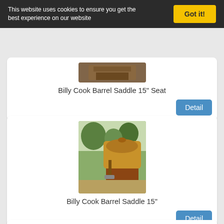This website uses cookies to ensure you get the best experience on our website
Got it!
[Figure (photo): Partially visible photo of a saddle, cropped at top]
Billy Cook Barrel Saddle 15" Seat
Detail
[Figure (photo): Photo of a Billy Cook barrel saddle on a horse outdoors]
Billy Cook Barrel Saddle 15"
Detail
[Figure (photo): Photo of a western/barrel saddle, partially visible at bottom]